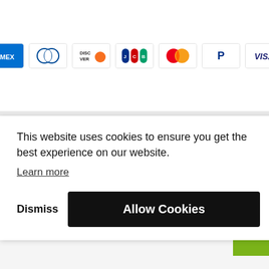[Figure (other): Row of payment method logos: American Express (AMEX), Diners Club, Discover, JCB, Mastercard, PayPal, Visa]
You Might Also Like
This website uses cookies to ensure you get the best experience on our website. Learn more
Dismiss   Allow Cookies